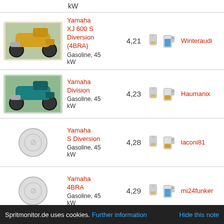kW
Yamaha XJ 600 S Diversion (4BRA) Gasoline, 45 kW — 4,21 — Winteraudi
Yamaha Division Gasoline, 45 kW — 4,23 — Haumanix
Yamaha S Diversion Gasoline, 45 kW — 4,28 — laconi81
Yamaha 4BRA Gasoline, 45 kW — 4,29 — mi24funker
Yamaha XJ 600 N
Spritmonitor.de uses cookies. Further information  Hide this note